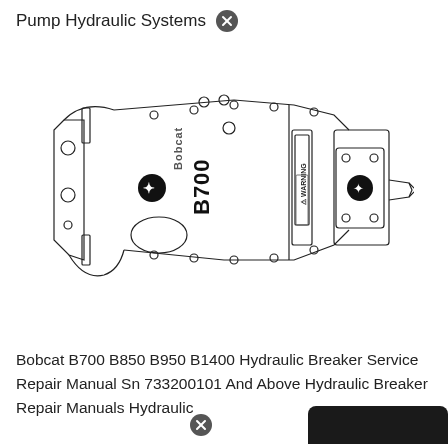Pump Hydraulic Systems
[Figure (engineering-diagram): Technical line drawing of a Bobcat B700 hydraulic breaker attachment shown in side/perspective view. The breaker has a body with mounting brackets on the left, Bobcat logo and B700 model label in the center, a WARNING sticker panel, bolt pattern plates, and a pointed chisel tool extending to the right.]
Bobcat B700 B850 B950 B1400 Hydraulic Breaker Service Repair Manual Sn 733200101 And Above Hydraulic Breaker Repair Manuals Hydraulic